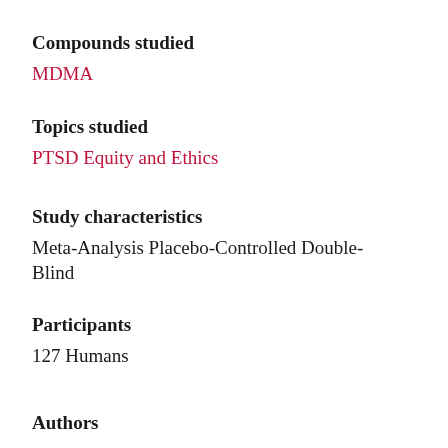Compounds studied
MDMA
Topics studied
PTSD Equity and Ethics
Study characteristics
Meta-Analysis Placebo-Controlled Double-Blind
Participants
127 Humans
Authors